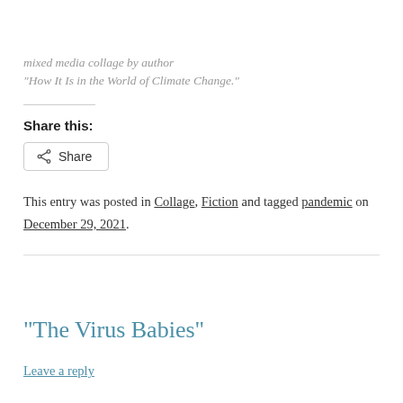mixed media collage by author
“How It Is in the World of Climate Change.”
Share this:
Share
This entry was posted in Collage, Fiction and tagged pandemic on December 29, 2021.
“The Virus Babies”
Leave a reply